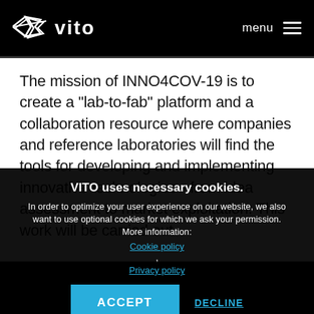vito  menu
The mission of INNO4COV-19 is to create a “lab-to-fab” platform and a collaboration resource where companies and reference laboratories will find the tools for developing and implementing innovative technologies - from idea assessment to market exploitation. This work will be carried out
VITO uses necessary cookies.
In order to optimize your user experience on our website, we also want to use optional cookies for which we ask your permission.
More information:
Cookie policy
,
Privacy policy
ACCEPT   DECLINE